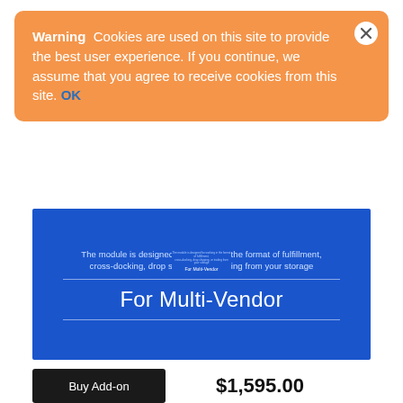Warning  Cookies are used on this site to provide the best user experience. If you continue, we assume that you agree to receive cookies from this site. OK
[Figure (screenshot): Blue product banner showing 'For Multi-Vendor' with subtitle text about fulfillment, cross-docking, drop shipping, or trading from your storage]
[Figure (screenshot): Small thumbnail version of the blue For Multi-Vendor banner]
Buy Add-on
$1,595.00